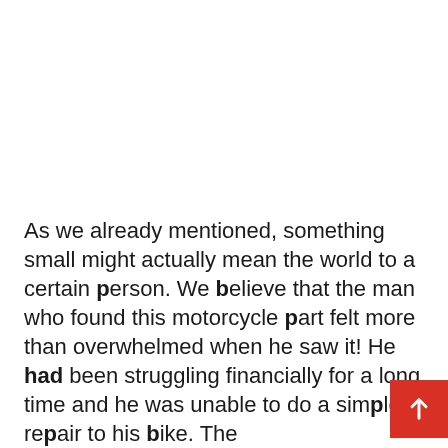As we already mentioned, something small might actually mean the world to a certain person. We believe that the man who found this motorcycle part felt more than overwhelmed when he saw it! He had been struggling financially for a long time and he was unable to do a simple repair to his bike. The